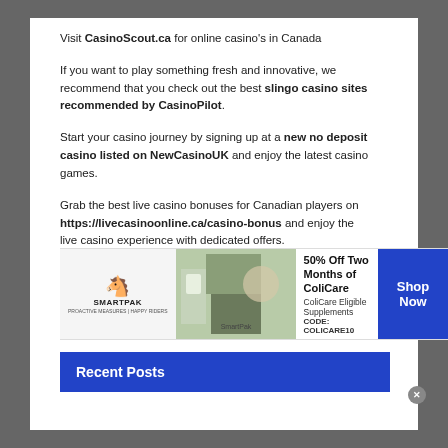Visit CasinoScout.ca for online casino's in Canada
If you want to play something fresh and innovative, we recommend that you check out the best slingo casino sites recommended by CasinoPilot.
Start your casino journey by signing up at a new no deposit casino listed on NewCasinoUK and enjoy the latest casino games.
Grab the best live casino bonuses for Canadian players on https://livecasinoonline.ca/casino-bonus and enjoy the live casino experience with dedicated offers.
Recent Posts
[Figure (infographic): SmartPak advertisement banner: 50% Off Two Months of ColiCare, ColiCare Eligible Supplements, CODE: COLICARE10, with Shop Now button]